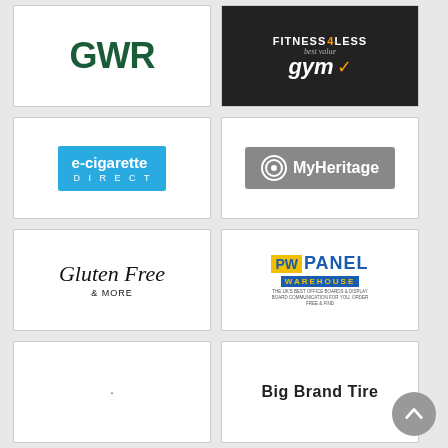[Figure (logo): GWR logo in dark green bold text]
[Figure (logo): Fitness4Less logo on dark background with orange accent and 'best value gym' tagline]
[Figure (logo): e-cigarette DIRECT logo on blue background]
[Figure (logo): MyHeritage logo on grey background with circle icon]
[Figure (logo): Gluten Free & MORE logo in italic serif font]
[Figure (logo): PW Panel Warehouse logo with blue and yellow colors]
[Figure (logo): Blank/placeholder logo with dot]
[Figure (logo): Big Brand Tire text logo]